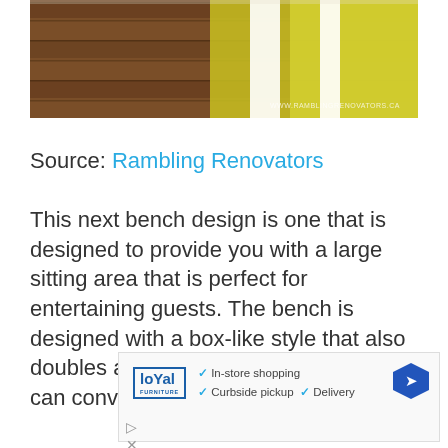[Figure (photo): Photo of wooden deck/floor planks with a yellow and white striped textile visible on the right side. Watermark reads WWW.RAMBLINGRENOVATORS.CA]
Source: Rambling Renovators
This next bench design is one that is designed to provide you with a large sitting area that is perfect for entertaining guests. The bench is designed with a box-like style that also doubles as a storage space where you can conveniently keep your outdoor
[Figure (screenshot): Advertisement for Loyal with checkmarks for In-store shopping, Curbside pickup, and Delivery, with a blue direction arrow icon]